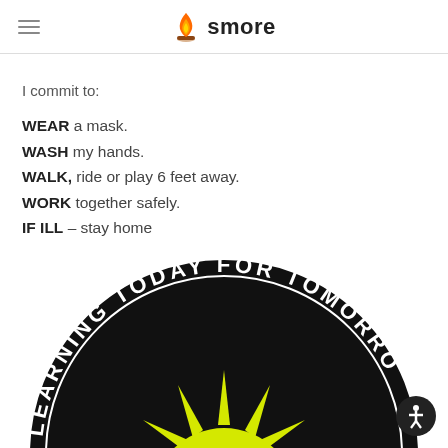smore
I commit to:
WEAR a mask.
WASH my hands.
WALK, ride or play 6 feet away.
WORK together safely.
IF ILL – stay home
[Figure (logo): School logo showing a sun with rays and the text 'LEARNING TODAY FOR TOMORROW' in an arc on a black circular badge]